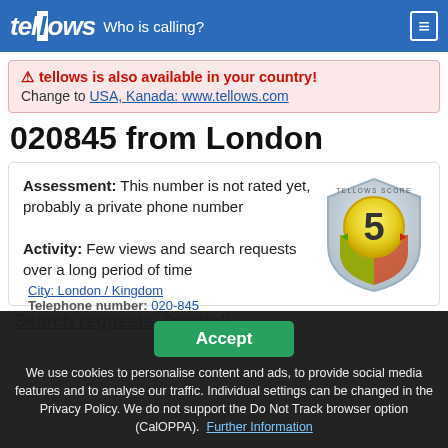tellows — Who is calling?
tellows is also available in your country! Change to USA, Kanada: www.tellows.com
020845 from London
Assessment: This number is not rated yet, probably a private phone number
Activity: Few views and search requests over a long period of time
[Figure (other): Tellows Score shield badge showing score 5 with color gradient from green to red]
Search requests: (partial, cut off)
Accept
We use cookies to personalise content and ads, to provide social media features and to analyse our traffic. Individual settings can be changed in the Privacy Policy. We do not support the Do Not Track browser option (CalOPPA). Further Information
City: London / Kingdom
Telephone number: 020-845